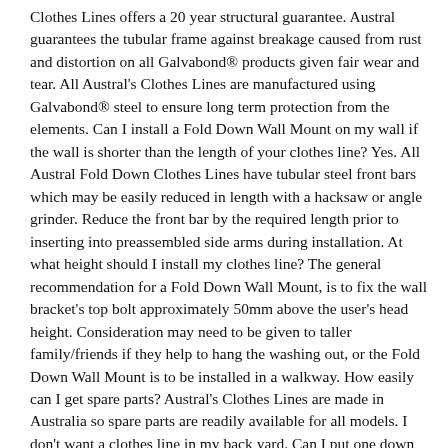Clothes Lines offers a 20 year structural guarantee. Austral guarantees the tubular frame against breakage caused from rust and distortion on all Galvabond® products given fair wear and tear. All Austral's Clothes Lines are manufactured using Galvabond® steel to ensure long term protection from the elements. Can I install a Fold Down Wall Mount on my wall if the wall is shorter than the length of your clothes line? Yes. All Austral Fold Down Clothes Lines have tubular steel front bars which may be easily reduced in length with a hacksaw or angle grinder. Reduce the front bar by the required length prior to inserting into preassembled side arms during installation. At what height should I install my clothes line? The general recommendation for a Fold Down Wall Mount, is to fix the wall bracket's top bolt approximately 50mm above the user's head height. Consideration may need to be given to taller family/friends if they help to hang the washing out, or the Fold Down Wall Mount is to be installed in a walkway. How easily can I get spare parts? Austral's Clothes Lines are made in Australia so spare parts are readily available for all models. I don't want a clothes line in my back yard. Can I put one down the side of the house? Yes. Austral manufactures one of the narrowest Fold Downs available. Most side paths are only 800-900mm wide. The Austral Slenderlines are only 59cm deep and will easily fit into a narrow side path. Both the Slenderline 16 and 20 may be wall mounted or free-standing. 39